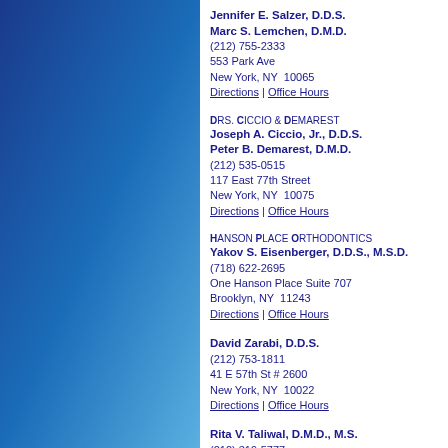[Figure (illustration): Blue gradient sidebar on the left side of the page, transitioning from dark navy at top to light sky blue at bottom]
Jennifer E. Salzer, D.D.S.
Marc S. Lemchen, D.M.D.
(212) 755-2333
553 Park Ave
New York, NY  10065
Directions | Office Hours
Drs. Ciccio & Demarest
Joseph A. Ciccio, Jr., D.D.S.
Peter B. Demarest, D.M.D.
(212) 535-0515
117 East 77th Street
New York, NY  10075
Directions | Office Hours
Hanson Place Orthodontics
Yakov S. Eisenberger, D.D.S., M.S.D.
(718) 622-2695
One Hanson Place Suite 707
Brooklyn, NY  11243
Directions | Office Hours
David Zarabi, D.D.S.
(212) 753-1811
41 E 57th St # 2600
New York, NY  10022
Directions | Office Hours
Rita V. Taliwal, D.M.D., M.S.
(212) 319-5777